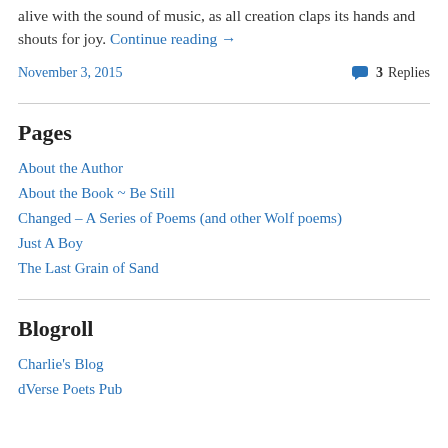alive with the sound of music, as all creation claps its hands and shouts for joy. Continue reading →
November 3, 2015    3 Replies
Pages
About the Author
About the Book ~ Be Still
Changed – A Series of Poems (and other Wolf poems)
Just A Boy
The Last Grain of Sand
Blogroll
Charlie's Blog
dVerse Poets Pub